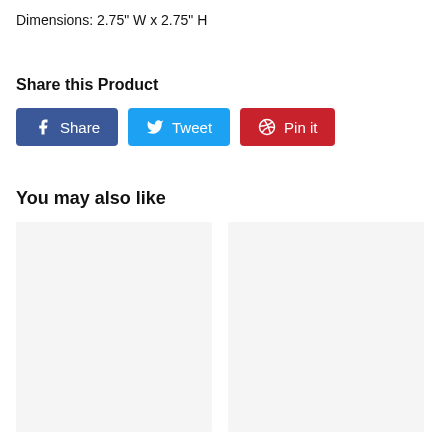Dimensions: 2.75" W x 2.75" H
Share this Product
[Figure (other): Social sharing buttons: Facebook Share, Twitter Tweet, Pinterest Pin it]
You may also like
[Figure (other): Two product image placeholder cards side by side with light gray background]